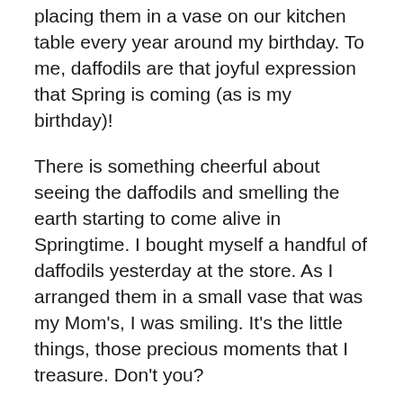placing them in a vase on our kitchen table every year around my birthday. To me, daffodils are that joyful expression that Spring is coming (as is my birthday)!
There is something cheerful about seeing the daffodils and smelling the earth starting to come alive in Springtime. I bought myself a handful of daffodils yesterday at the store. As I arranged them in a small vase that was my Mom's, I was smiling. It's the little things, those precious moments that I treasure. Don't you?
It's been getting warmer here in Jersey and the birds are chatting away more than usual. Perhaps it's not more than usual, but simply that it's been so quiet throughout the Winter months. It's good to hear them prattling away and calling to each other. I have been watching them eat from the suet bird feeders I got this Winter. They are so much